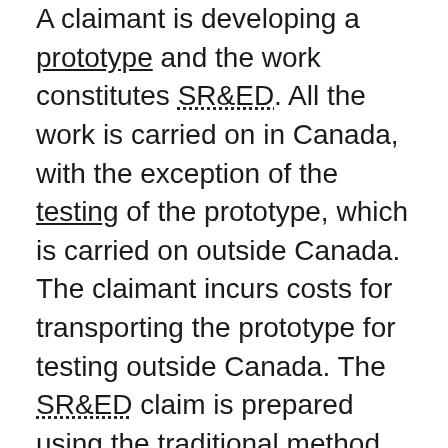A claimant is developing a prototype and the work constitutes SR&ED. All the work is carried on in Canada, with the exception of the testing of the prototype, which is carried on outside Canada. The claimant incurs costs for transporting the prototype for testing outside Canada. The SR&ED claim is prepared using the traditional method.
The cost of transporting the prototype for testing outside Canada, in a situation where the testing constitutes SR&ED that is directly in support of SR&ED carried on in Canada, is considered to be an expenditure in respect of SR&ED carried on outside Canada. The